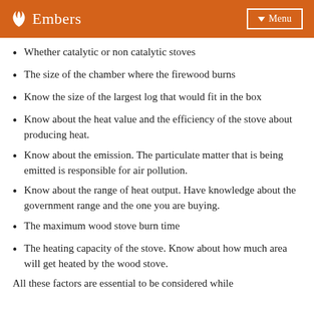🔥 Embers  ▾ Menu
Whether catalytic or non catalytic stoves
The size of the chamber where the firewood burns
Know the size of the largest log that would fit in the box
Know about the heat value and the efficiency of the stove about producing heat.
Know about the emission. The particulate matter that is being emitted is responsible for air pollution.
Know about the range of heat output. Have knowledge about the government range and the one you are buying.
The maximum wood stove burn time
The heating capacity of the stove. Know about how much area will get heated by the wood stove.
All these factors are essential to be considered while